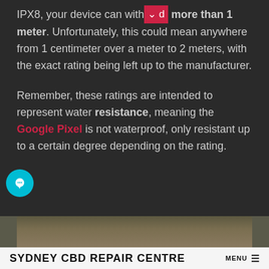IPX8, your device can withstand more than 1 meter. Unfortunately, this could mean anywhere from 1 centimeter over a meter to 2 meters, with the exact rating being left up to the manufacturer.
Remember, these ratings are intended to represent water resistance, meaning the Google Pixel is not waterproof, only resistant up to a certain degree depending on the rating.
[Figure (photo): Partial photo of a wooden surface with some green foliage visible, partially cropped at bottom of dark section]
SYDNEY CBD REPAIR CENTRE MENU ≡